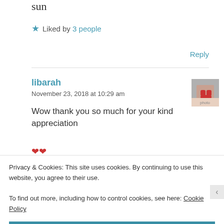sun
★ Liked by 3 people
Reply
libarah
November 23, 2018 at 10:29 am
Wow thank you so much for your kind appreciation
[Figure (photo): Avatar photo of commenter libarah showing a person holding a heart]
Privacy & Cookies: This site uses cookies. By continuing to use this website, you agree to their use.
To find out more, including how to control cookies, see here: Cookie Policy
Close and accept